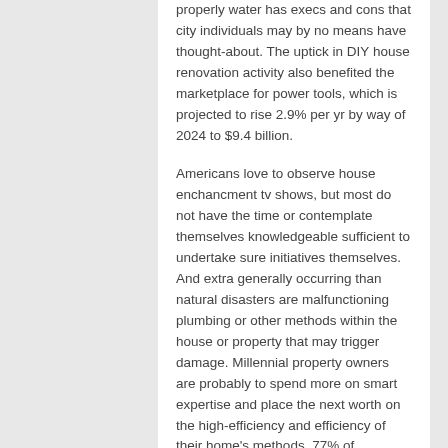properly water has execs and cons that city individuals may by no means have thought-about. The uptick in DIY house renovation activity also benefited the marketplace for power tools, which is projected to rise 2.9% per yr by way of 2024 to $9.4 billion.
Americans love to observe house enchancment tv shows, but most do not have the time or contemplate themselves knowledgeable sufficient to undertake sure initiatives themselves. And extra generally occurring than natural disasters are malfunctioning plumbing or other methods within the house or property that may trigger damage. Millennial property owners are probably to spend more on smart expertise and place the next worth on the high-efficiency and efficiency of their home's methods. 77% of millennials put cash into good and security expertise vs. 25% of child boomer homeowners. For property homeowners who've long-term tenants, the use of sure smart technology could also be considered a